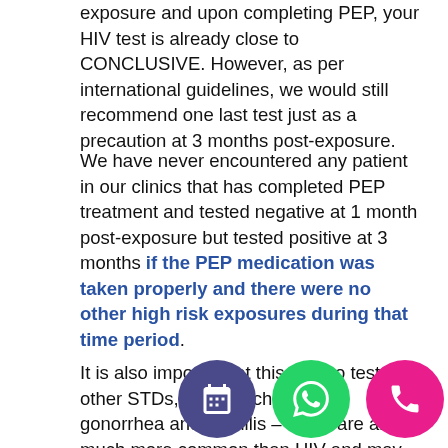exposure and upon completing PEP, your HIV test is already close to CONCLUSIVE. However, as per international guidelines, we would still recommend one last test just as a precaution at 3 months post-exposure.
We have never encountered any patient in our clinics that has completed PEP treatment and tested negative at 1 month post-exposure but tested positive at 3 months if the PEP medication was taken properly and there were no other high risk exposures during that time period.
It is also important at this time to test for other STDs, such as chlamydia, gonorrhea and syphilis – these are all much more common than HIV and may also remain clinically silent (without symptoms). Of course, the...
[Figure (other): Three floating action buttons: calendar (dark blue/purple), WhatsApp (green), phone (pink/magenta)]